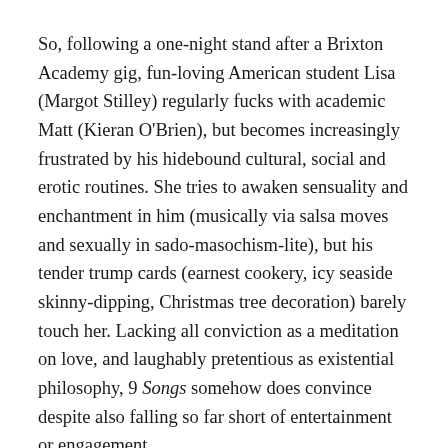So, following a one-night stand after a Brixton Academy gig, fun-loving American student Lisa (Margot Stilley) regularly fucks with academic Matt (Kieran O'Brien), but becomes increasingly frustrated by his hidebound cultural, social and erotic routines. She tries to awaken sensuality and enchantment in him (musically via salsa moves and sexually in sado-masochism-lite), but his tender trump cards (earnest cookery, icy seaside skinny-dipping, Christmas tree decoration) barely touch her. Lacking all conviction as a meditation on love, and laughably pretentious as existential philosophy, 9 Songs somehow does convince despite also falling so far short of entertainment or engagement.
Thanks to straightforward realism, the film implies that sex itself is actually no big deal, either as misguided